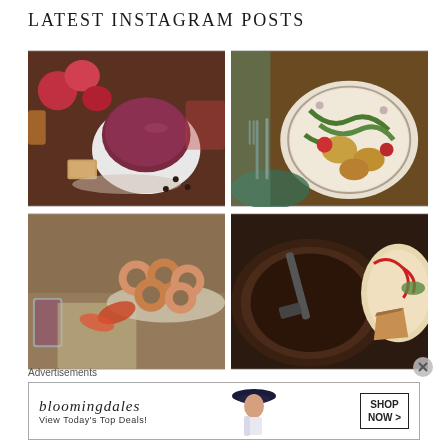LATEST INSTAGRAM POSTS
[Figure (photo): Food photography: dark plum/berry smoothie in a cup on a saucer, surrounded by peaches, figs, spices and pastries on a white plate]
[Figure (photo): Food photography: cooked green beans and potatoes on a floral china plate with fork and knife on a teal napkin]
[Figure (photo): Food photography: ring-shaped cookies/donuts displayed on a glass dish with autumn leaves and a glass of dark beverage]
[Figure (photo): Food photography: chocolate sauce or dark gravy in a pan with decorated plate and cake slice visible]
Advertisements
[Figure (screenshot): Bloomingdale's advertisement banner: 'bloomingdales' logo with tagline 'View Today's Top Deals!' and woman in hat, with 'SHOP NOW >' button]